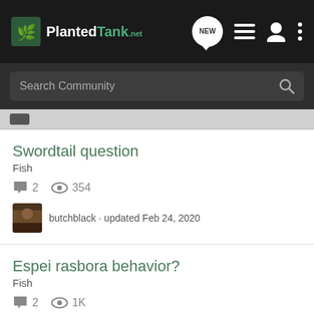PlantedTank.net
Search Community
Swordtail question
Fish
2  354
butchblack · updated Feb 24, 2020
Espei rasbora behavior?
Fish
2  1K
yunnyaro · updated Mar 15, 2018